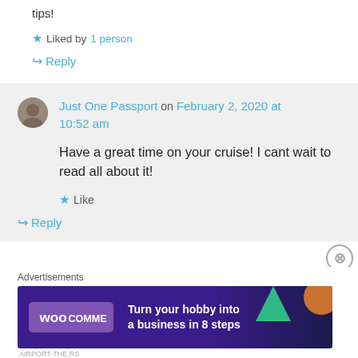tips!
★ Liked by 1 person
↪ Reply
Just One Passport on February 2, 2020 at 10:52 am
Have a great time on your cruise! I cant wait to read all about it!
★ Like
↪ Reply
Advertisements
[Figure (screenshot): WooCommerce advertisement banner: purple/dark background with WooCommerce logo and text 'Turn your hobby into a business in 8 steps']